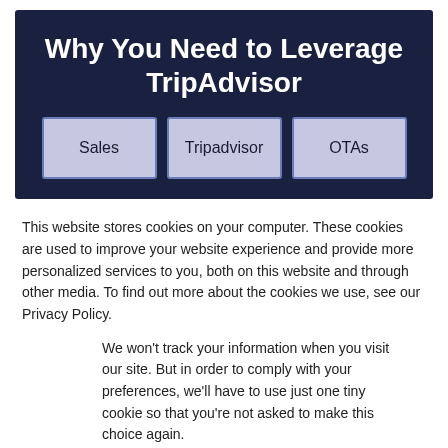Why You Need to Leverage TripAdvisor
Sales
Tripadvisor
OTAs
This website stores cookies on your computer. These cookies are used to improve your website experience and provide more personalized services to you, both on this website and through other media. To find out more about the cookies we use, see our Privacy Policy.
We won't track your information when you visit our site. But in order to comply with your preferences, we'll have to use just one tiny cookie so that you're not asked to make this choice again.
Accept
Decline